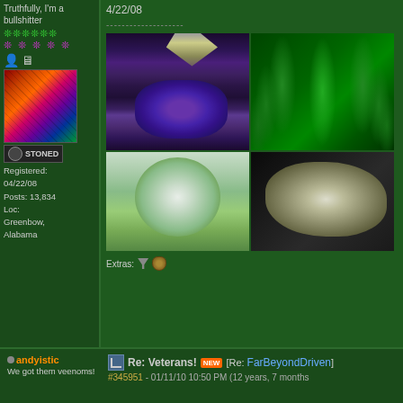Truthfully, I'm a bullshitter
[Figure (illustration): User avatar - colorful psychedelic art with swirling colors]
STONED
Registered: 04/22/08
Posts: 13,834
Loc: Greenbow, Alabama
4/22/08
[Figure (photo): Four cannabis plant photos in a 2x2 grid: top-left close-up of purple/dark bud with white pistils, top-right green cannabis leaves fan, bottom-left light colored bud against green background, bottom-right close-up of frosty/crystalline bud]
Extras:
andyistic
We got them veenoms!
Re: Veterans! [NEW] [Re: FarBeyondDriven]
#345951 - 01/11/10 10:50 PM (12 years, 7 months